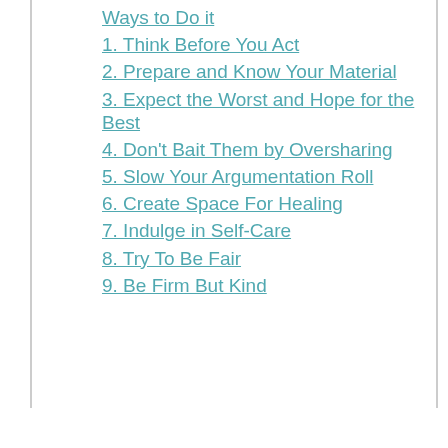Ways to Do it
1. Think Before You Act
2. Prepare and Know Your Material
3. Expect the Worst and Hope for the Best
4. Don't Bait Them by Oversharing
5. Slow Your Argumentation Roll
6. Create Space For Healing
7. Indulge in Self-Care
8. Try To Be Fair
9. Be Firm But Kind